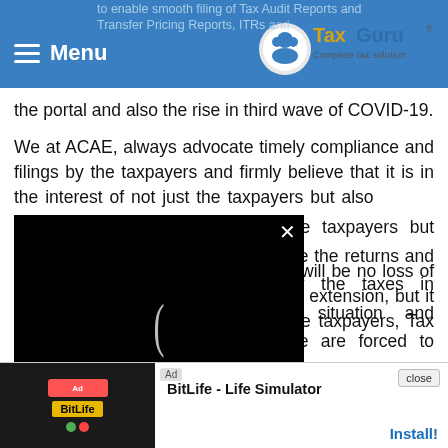Menu | TaxGuru - Complete tax solution
to enable smooth filing of Tax Audit Reports and Transfer Pricing Reports, ITRs and other returns on the new e-filing portal, given the current situation of the portal and also the rise in third wave of COVID-19.
We at ACAE, always advocate timely compliance and filings by the taxpayers and firmly believe that it is in the interest of not just the taxpayers but also [obscured by video overlay] file the returns and other [obscured] pay the taxes in time but [obscured] e situation and multiple [obscured] we are forced to make [obscured] of due dates. Also, we wish to highlight that there will be no loss of the revenue to the exchequer by this extension, but it will merely give moral support to the taxpayers, Tax Auditors and the [obscured] the risk [obscured] ure
[Figure (screenshot): Black video player overlay with loading spinner (open parenthesis style) and X close button in top right]
[Figure (screenshot): Ad banner at bottom: BitLife Life Simulator mobile game ad with close button and Install link]